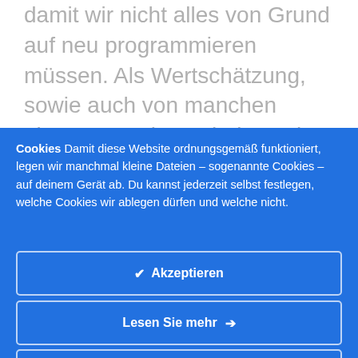damit wir nicht alles von Grund auf neu programmieren müssen. Als Wertschätzung, sowie auch von manchen Lizenzen verlangt, haben wir hier und in unserer App eine vollständige Liste verwendeter Pakete mit Links zu...
Cookies Damit diese Website ordnungsgemäß funktioniert, legen wir manchmal kleine Dateien – sogenannte Cookies – auf deinem Gerät ab. Du kannst jederzeit selbst festlegen, welche Cookies wir ablegen dürfen und welche nicht.
✔ Akzeptieren
Lesen Sie mehr →
Einstellungen ändern ⚙